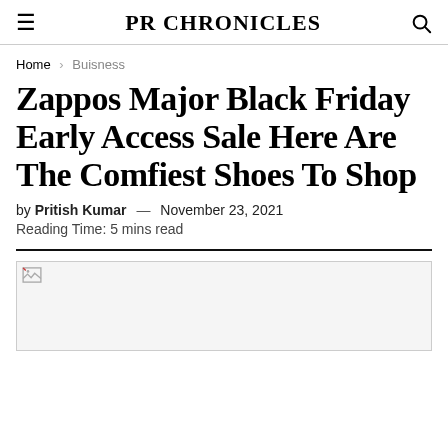PR CHRONICLES
Home > Buisness
Zappos Major Black Friday Early Access Sale Here Are The Comfiest Shoes To Shop
by Pritish Kumar — November 23, 2021
Reading Time: 5 mins read
[Figure (photo): Image placeholder with broken image icon, light gray background]